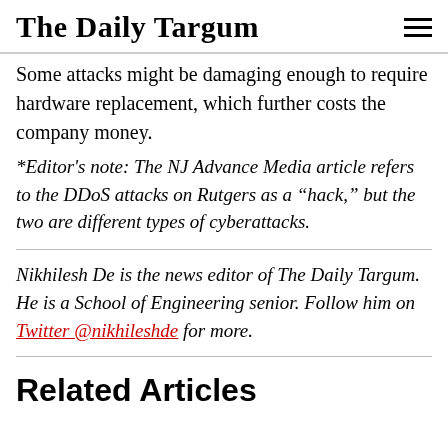The Daily Targum
Some attacks might be damaging enough to require hardware replacement, which further costs the company money.
*Editor's note: The NJ Advance Media article refers to the DDoS attacks on Rutgers as a “hack,” but the two are different types of cyberattacks.
Nikhilesh De is the news editor of The Daily Targum. He is a School of Engineering senior. Follow him on Twitter @nikhileshde for more.
Related Articles